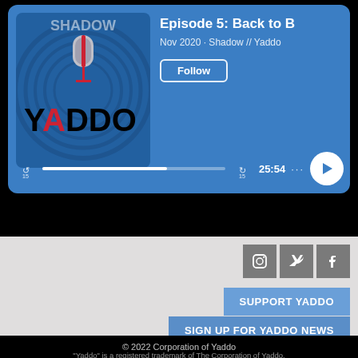[Figure (screenshot): Podcast player card for 'Episode 5: Back to B' by Shadow // Yaddo, Nov 2020, with blue background, album art showing YADDO logo with microphone, Follow button, and playback controls showing 25:54]
[Figure (infographic): Social media icons for Instagram, Twitter, and Facebook in gray square buttons]
SUPPORT YADDO
SIGN UP FOR YADDO NEWS
© 2022 Corporation of Yaddo
"Yaddo" is a registered trademark of The Corporation of Yaddo.